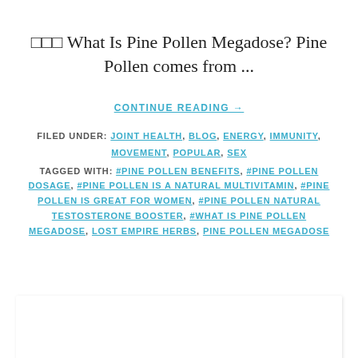□□□ What Is Pine Pollen Megadose? Pine Pollen comes from ...
CONTINUE READING →
FILED UNDER: JOINT HEALTH, BLOG, ENERGY, IMMUNITY, MOVEMENT, POPULAR, SEX
TAGGED WITH: #PINE POLLEN BENEFITS, #PINE POLLEN DOSAGE, #PINE POLLEN IS A NATURAL MULTIVITAMIN, #PINE POLLEN IS GREAT FOR WOMEN, #PINE POLLEN NATURAL TESTOSTERONE BOOSTER, #WHAT IS PINE POLLEN MEGADOSE, LOST EMPIRE HERBS, PINE POLLEN MEGADOSE